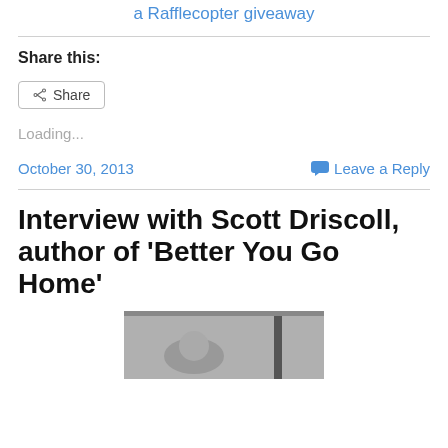a Rafflecopter giveaway
Share this:
Share
Loading...
October 30, 2013
Leave a Reply
Interview with Scott Driscoll, author of ‘Better You Go Home’
[Figure (photo): Partial photo visible at bottom of page, black and white image]